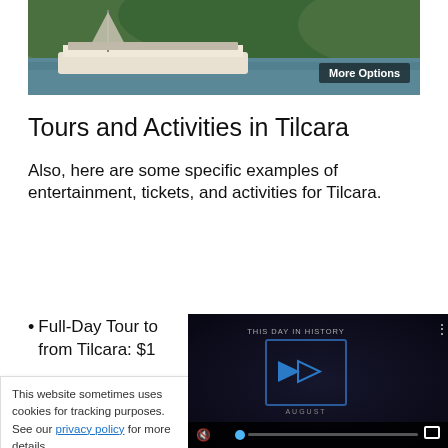[Figure (photo): Boat on water with green forested hills in the background and a 'More Options' badge in the lower right corner]
Tours and Activities in Tilcara
Also, here are some specific examples of entertainment, tickets, and activities for Tilcara.
Full-Day Tour to ... from Tilcara: $1...
This website sometimes uses cookies for tracking purposes. See our privacy policy for more details.
[Figure (screenshot): Video player showing 'This Day in History' with blue play button icons, August label, mute icon, progress bar with blue dot, and fullscreen button]